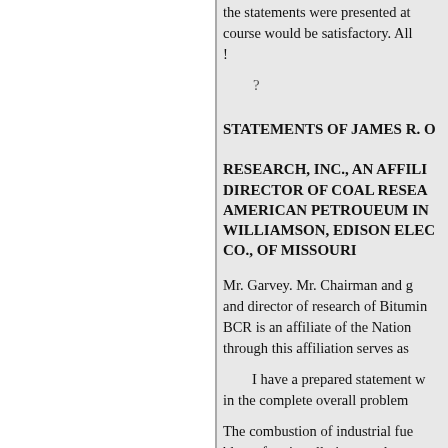the statements were presented at course would be satisfactory. All !
?
STATEMENTS OF JAMES R. O... RESEARCH, INC., AN AFFILI... DIRECTOR OF COAL RESEA... AMERICAN PETROUEUM IN... WILLIAMSON, EDISON ELEC... CO., OF MISSOURI
Mr. Garvey. Mr. Chairman and g... and director of research of Bitum... BCR is an affiliate of the Nation... through this affiliation serves as
I have a prepared statement w... in the complete overall problem
The combustion of industrial fue... blame for air pollutionor at least... problems can be traced in large p
Nevertheless, the coal industry... minimize emissions from coal-b...